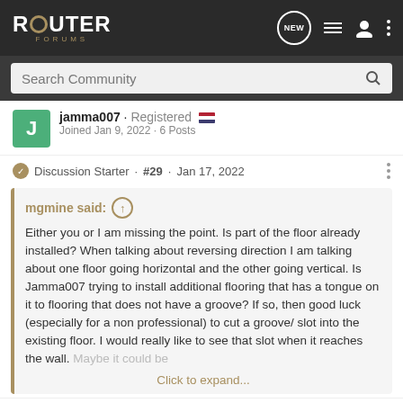ROUTER FORUMS
Search Community
jamma007 · Registered
Joined Jan 9, 2022 · 6 Posts
Discussion Starter · #29 · Jan 17, 2022
mgmine said:
Either you or I am missing the point. Is part of the floor already installed? When talking about reversing direction I am talking about one floor going horizontal and the other going vertical. Is Jamma007 trying to install additional flooring that has a tongue on it to flooring that does not have a groove? If so, then good luck (especially for a non professional) to cut a groove/ slot into the existing floor. I would really like to see that slot when it reaches the wall. Maybe it could be
Click to expand...
The flooring in the hallway is already installed and is existing